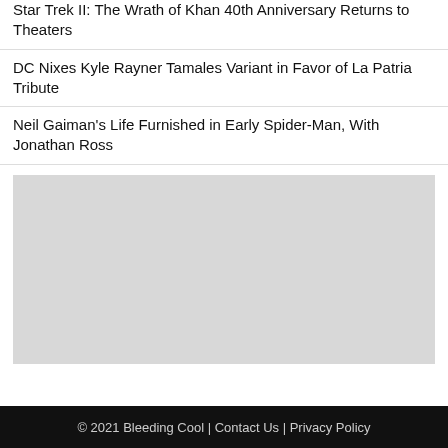Star Trek II: The Wrath of Khan 40th Anniversary Returns to Theaters
DC Nixes Kyle Rayner Tamales Variant in Favor of La Patria Tribute
Neil Gaiman's Life Furnished in Early Spider-Man, With Jonathan Ross
[Figure (other): Gray advertisement placeholder block]
© 2021 Bleeding Cool | Contact Us | Privacy Policy